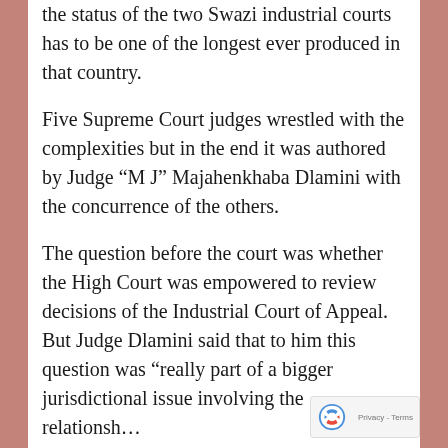the status of the two Swazi industrial courts has to be one of the longest ever produced in that country.
Five Supreme Court judges wrestled with the complexities but in the end it was authored by Judge “M J” Majahenkhaba Dlamini with the concurrence of the others.
The question before the court was whether the High Court was empowered to review decisions of the Industrial Court of Appeal. But Judge Dlamini said that to him this question was “really part of a bigger jurisdictional issue involving the relationship